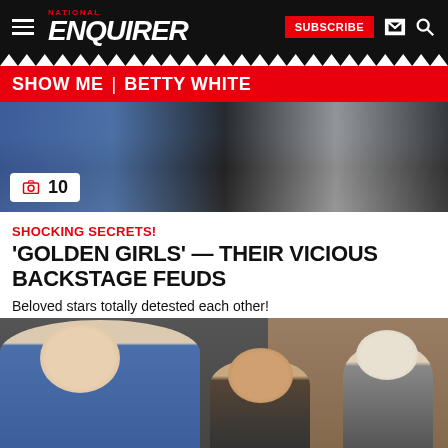NATIONAL ENQUIRER — SUBSCRIBE
SHOW ME | BETTY WHITE
[Figure (photo): Partial photo of people in colorful clothing with a photo gallery badge showing camera icon and count 10]
SHOCKING SECRETS! 'GOLDEN GIRLS' — THEIR VICIOUS BACKSTAGE FEUDS
Beloved stars totally detested each other!
Posted May 25, 2017 @ 11:11AM
[Figure (photo): Photo of Betty White in blue jacket clapping, with two other women beside her in a formal setting]